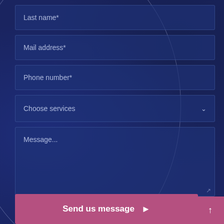Last name*
Mail address*
Phone number*
Choose services
Message...
Send us message ▶